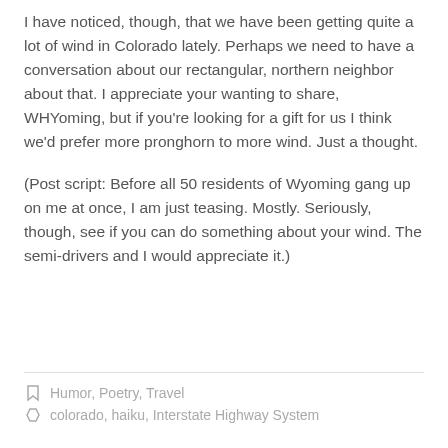I have noticed, though, that we have been getting quite a lot of wind in Colorado lately. Perhaps we need to have a conversation about our rectangular, northern neighbor about that. I appreciate your wanting to share, WHYoming, but if you're looking for a gift for us I think we'd prefer more pronghorn to more wind. Just a thought.
(Post script: Before all 50 residents of Wyoming gang up on me at once, I am just teasing. Mostly. Seriously, though, see if you can do something about your wind. The semi-drivers and I would appreciate it.)
Humor, Poetry, Travel
colorado, haiku, Interstate Highway System